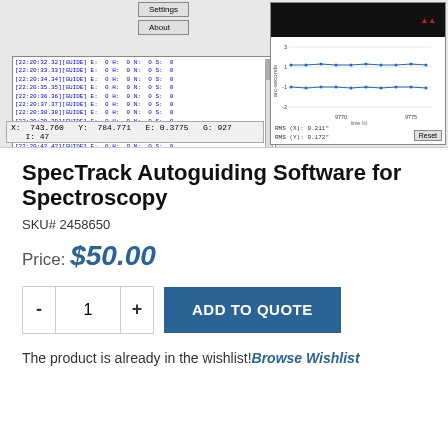[Figure (screenshot): Screenshot of SpecTrack autoguiding software showing a log panel with timestamped GUIDE entries, Settings and About buttons, a dark top camera view on the right, a line chart showing X/Y guiding data over time with RMS values, and a status bar showing X: 743.760 Y: 784.771 E: 0.3775 G: 927 I: 47]
SpecTrack Autoguiding Software for Spectroscopy
SKU# 2458650
Price: $50.00
ADD TO QUOTE
The product is already in the wishlist!Browse Wishlist